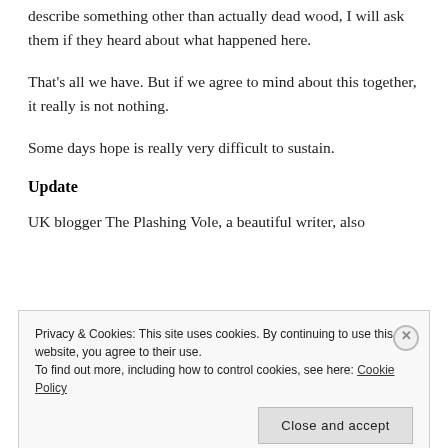describe something other than actually dead wood, I will ask them if they heard about what happened here.
That's all we have. But if we agree to mind about this together, it really is not nothing.
Some days hope is really very difficult to sustain.
Update
UK blogger The Plashing Vole, a beautiful writer, also
Privacy & Cookies: This site uses cookies. By continuing to use this website, you agree to their use.
To find out more, including how to control cookies, see here: Cookie Policy
Close and accept